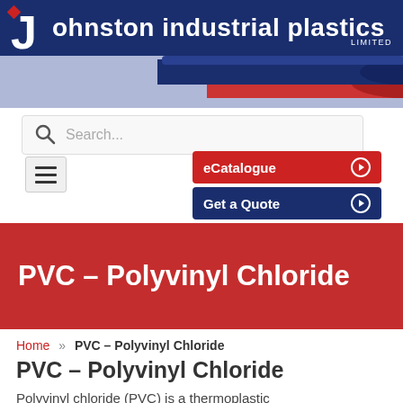[Figure (logo): Johnston Industrial Plastics Limited logo with blue background and white text]
[Figure (screenshot): Website header with search bar, eCatalogue and Get a Quote buttons, and hamburger menu on lavender background]
PVC – Polyvinyl Chloride
Home » PVC – Polyvinyl Chloride
PVC – Polyvinyl Chloride
Polyvinyl chloride (PVC) is a thermoplastic